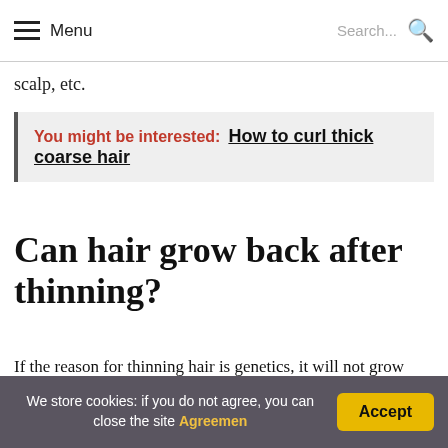Menu  Search...
scalp, etc.
You might be interested:  How to curl thick coarse hair
Can hair grow back after thinning?
If the reason for thinning hair is genetics, it will not grow back on its own. To grow back a healthy, full head of hair ,
We store cookies: if you do not agree, you can close the site Agreemen